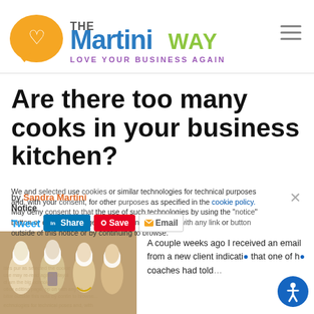[Figure (logo): The Martini Way logo with orange chat-bubble heart icon and colorful text, tagline LOVE YOUR BUSINESS AGAIN in purple]
Are there too many cooks in your business kitchen?
by Sandra Martini
Notice
Tweet  Share  Save  Email
[Figure (photo): Medieval illustration of multiple cooks in white toques working in a kitchen]
A couple weeks ago I received an email from a new client indicati... that one of h... coaches had told...